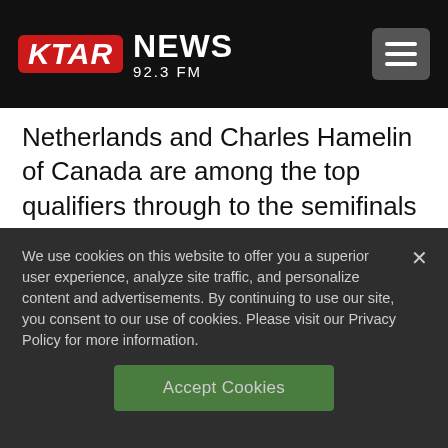KTAR NEWS 92.3 FM
Netherlands and Charles Hamelin of Canada are among the top qualifiers through to the semifinals of the men's 1,500 meters at short track speedskating.
Liu Shaolin Sandor and his brother Liu
We use cookies on this website to offer you a superior user experience, analyze site traffic, and personalize content and advertisements. By continuing to use our site, you consent to our use of cookies. Please visit our Privacy Policy for more information.
Accept Cookies